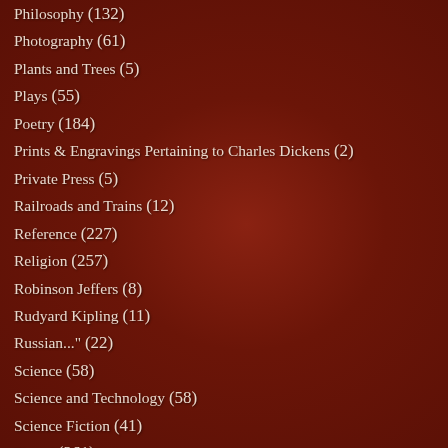Philosophy (132)
Photography (61)
Plants and Trees (5)
Plays (55)
Poetry (184)
Prints & Engravings Pertaining to Charles Dickens (2)
Private Press (5)
Railroads and Trains (12)
Reference (227)
Religion (257)
Robinson Jeffers (8)
Rudyard Kipling (11)
Russian..." (22)
Science (58)
Science and Technology (58)
Science Fiction (41)
Travel (261)
Travel By Automobile (5)
True Crime (11)
Uncategorized (824)
W.M. Th... (4)